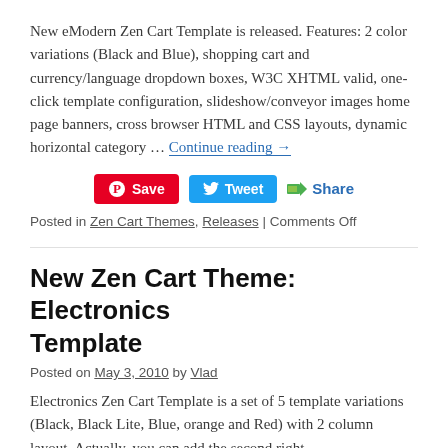New eModern Zen Cart Template is released. Features: 2 color variations (Black and Blue), shopping cart and currency/language dropdown boxes, W3C XHTML valid, one-click template configuration, slideshow/conveyor images home page banners, cross browser HTML and CSS layouts, dynamic horizontal category … Continue reading →
[Figure (other): Social sharing buttons: Pinterest Save (red), Twitter Tweet (blue), and Share link with icon]
Posted in Zen Cart Themes, Releases | Comments Off
New Zen Cart Theme: Electronics Template
Posted on May 3, 2010 by Vlad
Electronics Zen Cart Template is a set of 5 template variations (Black, Black Lite, Blue, orange and Red) with 2 column layout. Actually, you can add the second right